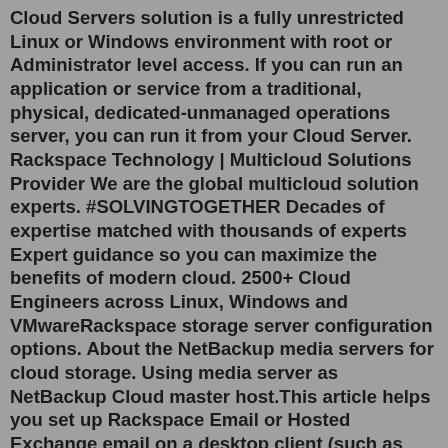Cloud Servers solution is a fully unrestricted Linux or Windows environment with root or Administrator level access. If you can run an application or service from a traditional, physical, dedicated-unmanaged operations server, you can run it from your Cloud Server. Rackspace Technology | Multicloud Solutions Provider We are the global multicloud solution experts. #SOLVINGTOGETHER Decades of expertise matched with thousands of experts Expert guidance so you can maximize the benefits of modern cloud. 2500+ Cloud Engineers across Linux, Windows and VMwareRackspace storage server configuration options. About the NetBackup media servers for cloud storage. Using media server as NetBackup Cloud master host.This article helps you set up Rackspace Email or Hosted Exchange email on a desktop client (such as Microsoft® Outlook® or Mac® Mail) and on your mobile device. You can either use our Email Help Tool or enter the settings manually. Email Help Tool The Email Help Tool guides you through the